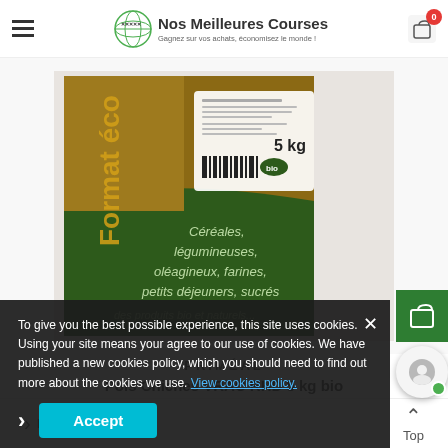Nos Meilleures Courses - navigation header with hamburger menu and cart
[Figure (photo): Product photo of PRIMÉAL Pois Chiches VRAC RHD 5 kg bio package - brown cardboard box with green label showing '5 kg', barcode, and text 'Format éco', 'Céréales, légumineuses, oléagineux, farines, petits déjeuners, sucrés']
PRIMÉAL
Pois Chiches VRAC RHD 5 kg bio
To give you the best possible experience, this site uses cookies. Using your site means your agree to our use of cookies. We have published a new cookies policy, which you should need to find out more about the cookies we use. View cookies policy.
Left   Top